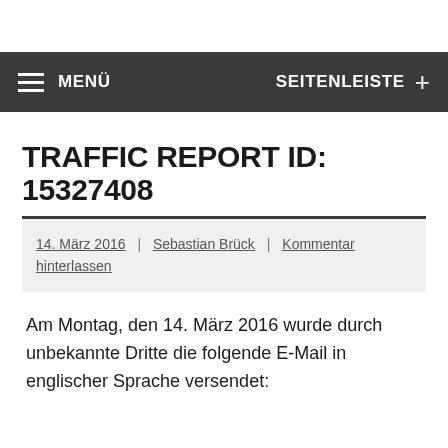MENÜ   SEITENLEISTE +
TRAFFIC REPORT ID: 15327408
14. März 2016 | Sebastian Brück | Kommentar hinterlassen
Am Montag, den 14. März 2016 wurde durch unbekannte Dritte die folgende E-Mail in englischer Sprache versendet: